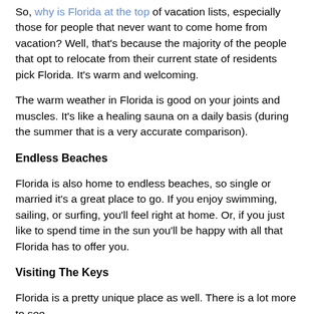So, why is Florida at the top of vacation lists, especially those for people that never want to come home from vacation? Well, that's because the majority of the people that opt to relocate from their current state of residents pick Florida. It's warm and welcoming.
The warm weather in Florida is good on your joints and muscles. It's like a healing sauna on a daily basis (during the summer that is a very accurate comparison).
Endless Beaches
Florida is also home to endless beaches, so single or married it's a great place to go. If you enjoy swimming, sailing, or surfing, you'll feel right at home. Or, if you just like to spend time in the sun you'll be happy with all that Florida has to offer you.
Visiting The Keys
Florida is a pretty unique place as well. There is a lot more to see